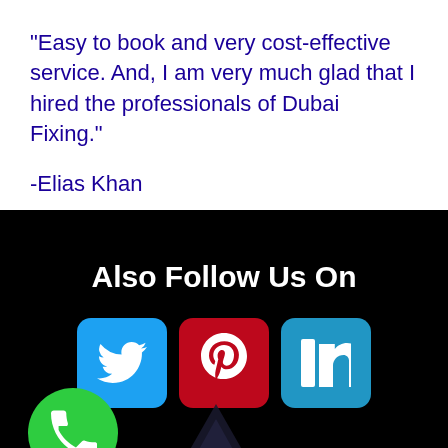“Easy to book and very cost-effective service. And, I am very much glad that I hired the professionals of Dubai Fixing.”
-Elias Khan
Also Follow Us On
[Figure (infographic): Three social media buttons: Twitter (blue), Pinterest (red), LinkedIn (light blue)]
[Figure (infographic): Green phone call button circle at bottom left, and a dark arrow/logo shape at bottom center]